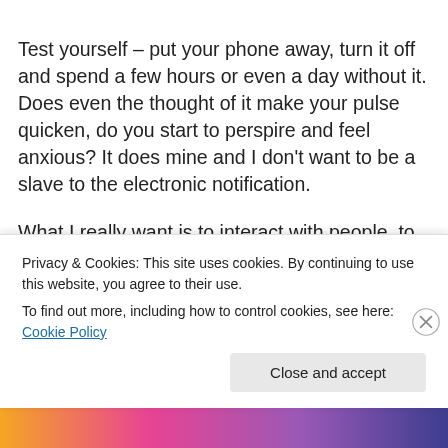Test yourself – put your phone away, turn it off and spend a few hours or even a day without it. Does even the thought of it make your pulse quicken, do you start to perspire and feel anxious? It does mine and I don't want to be a slave to the electronic notification.
What I really want is to interact with people, to talk, share ideas, news and feelings, tell stories, and smile in company. I want to become human again and feel
Privacy & Cookies: This site uses cookies. By continuing to use this website, you agree to their use.
To find out more, including how to control cookies, see here: Cookie Policy